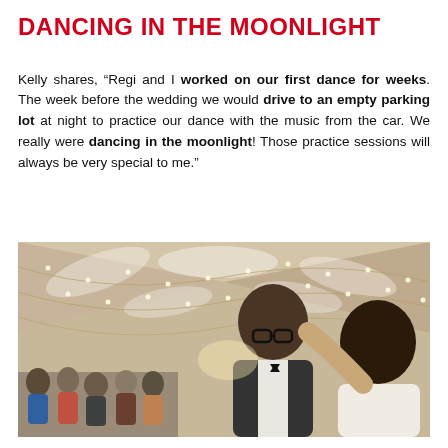DANCING IN THE MOONLIGHT
Kelly shares, “Regi and I worked on our first dance for weeks. The week before the wedding we would drive to an empty parking lot at night to practice our dance with the music from the car. We really were dancing in the moonlight! Those practice sessions will always be very special to me.”
[Figure (photo): A couple sharing their first dance at a wedding reception under a tent decorated with fairy lights and draped fabric. The groom wears glasses, a white shirt and dark vest with a bow tie; the bride is seen from behind with dark hair. Wedding guests are visible in the background.]